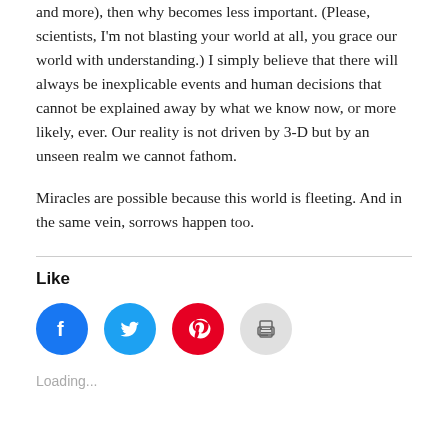and more), then why becomes less important. (Please, scientists, I'm not blasting your world at all, you grace our world with understanding.) I simply believe that there will always be inexplicable events and human decisions that cannot be explained away by what we know now, or more likely, ever. Our reality is not driven by 3-D but by an unseen realm we cannot fathom.
Miracles are possible because this world is fleeting. And in the same vein, sorrows happen too.
Like
[Figure (infographic): Four social sharing icon circles: Facebook (blue), Twitter (light blue), Pinterest (red), Print (light gray)]
Loading...